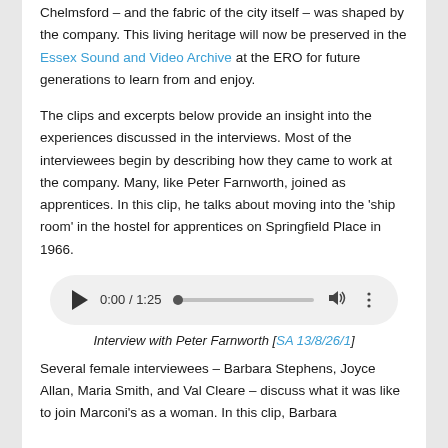Chelmsford – and the fabric of the city itself – was shaped by the company. This living heritage will now be preserved in the Essex Sound and Video Archive at the ERO for future generations to learn from and enjoy.
The clips and excerpts below provide an insight into the experiences discussed in the interviews. Most of the interviewees begin by describing how they came to work at the company. Many, like Peter Farnworth, joined as apprentices. In this clip, he talks about moving into the 'ship room' in the hostel for apprentices on Springfield Place in 1966.
[Figure (other): Audio player showing 0:00 / 1:25 with play button, progress bar, volume icon, and more options icon]
Interview with Peter Farnworth [SA 13/8/26/1]
Several female interviewees – Barbara Stephens, Joyce Allan, Maria Smith, and Val Cleare – discuss what it was like to join Marconi's as a woman. In this clip, Barbara